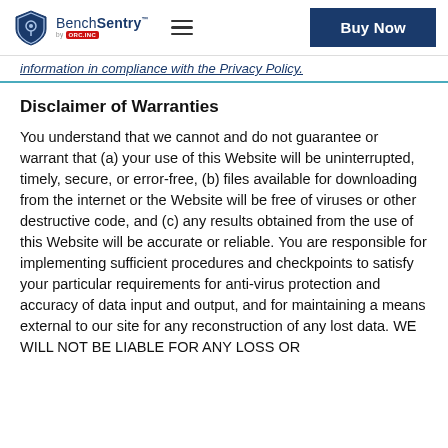BenchSentry by ORC.INC — Buy Now
information in compliance with the Privacy Policy.
Disclaimer of Warranties
You understand that we cannot and do not guarantee or warrant that (a) your use of this Website will be uninterrupted, timely, secure, or error-free, (b) files available for downloading from the internet or the Website will be free of viruses or other destructive code, and (c) any results obtained from the use of this Website will be accurate or reliable. You are responsible for implementing sufficient procedures and checkpoints to satisfy your particular requirements for anti-virus protection and accuracy of data input and output, and for maintaining a means external to our site for any reconstruction of any lost data. WE WILL NOT BE LIABLE FOR ANY LOSS OR